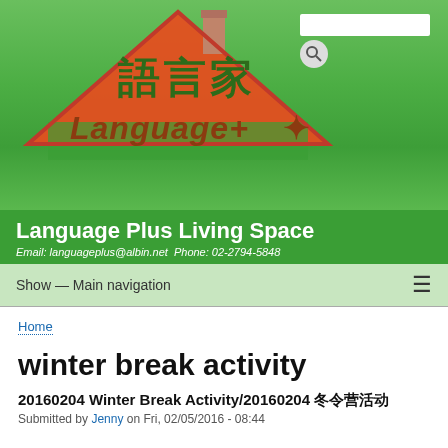[Figure (logo): Language Plus Living Space logo with house shape, Chinese characters 語言家, and brick-style 'Language+' text on green background with search box]
Language Plus Living Space
Email: languageplus@albin.net  Phone: 02-2794-5848
Show — Main navigation
Home
winter break activity
20160204 Winter Break Activity/20160204 冬令营活动
Submitted by Jenny on Fri, 02/05/2016 - 08:44